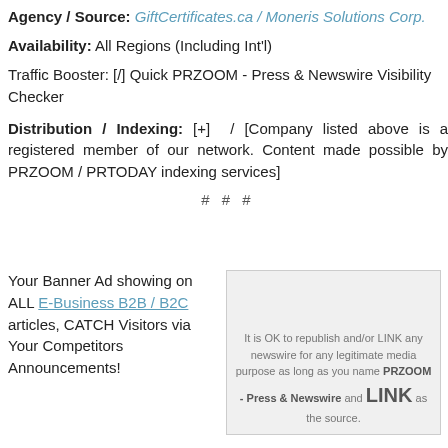Agency / Source: GiftCertificates.ca / Moneris Solutions Corp.
Availability: All Regions (Including Int'l)
Traffic Booster: [/] Quick PRZOOM - Press & Newswire Visibility Checker
Distribution / Indexing: [+]  / [Company listed above is a registered member of our network. Content made possible by PRZOOM / PRTODAY indexing services]
# # #
Your Banner Ad showing on ALL E-Business B2B / B2C articles, CATCH Visitors via Your Competitors Announcements!
[Figure (other): Grey advertisement box with text: It is OK to republish and/or LINK any newswire for any legitimate media purpose as long as you name PRZOOM - Press & Newswire and LINK as the source.]